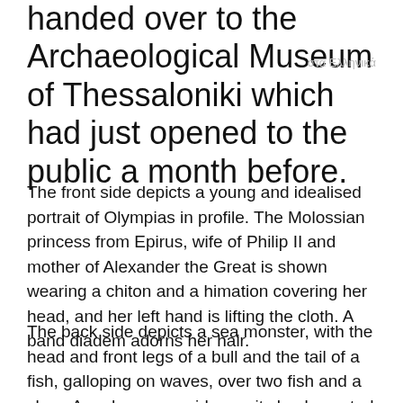handed over to the Archaeological Museum of Thessaloniki which had just opened to the public a month before.
στα Ελληνικά
The front side depicts a young and idealised portrait of Olympias in profile. The Molossian princess from Epirus, wife of Philip II and mother of Alexander the Great is shown wearing a chiton and a himation covering her head, and her left hand is lifting the cloth. A band diadem adorns her hair.
The back side depicts a sea monster, with the head and front legs of a bull and the tail of a fish, galloping on waves, over two fish and a clam. A nude woman rides on its back, seated on her himation that folds around her right arm. She places a